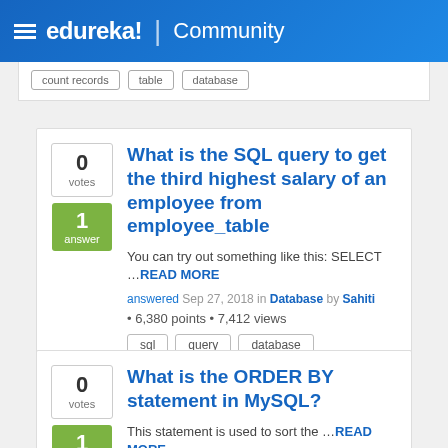edureka! | Community
count records · table · database
What is the SQL query to get the third highest salary of an employee from employee_table
You can try out something like this: SELECT ...READ MORE
answered Sep 27, 2018 in Database by Sahiti • 6,380 points • 7,412 views
sql
query
database
What is the ORDER BY statement in MySQL?
This statement is used to sort the ...READ MORE